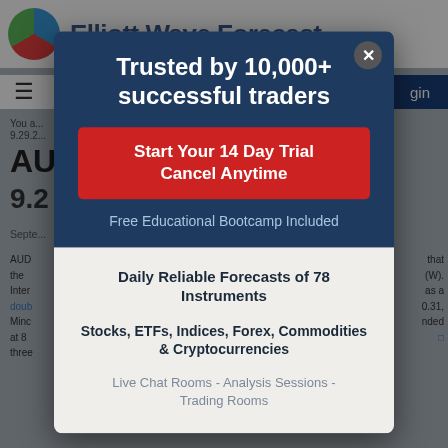[Figure (screenshot): Background: Elliott Wave Forecast website header with logo, navigation, and partially visible article content]
Trusted by 10,000+ successful traders
Start Your 14 Day Trial
Cancel Anytime
Free Educational Bootcamp Included
Daily Reliable Forecasts of 78 Instruments
Stocks, ETFs, Indices, Forex, Commodities & Cryptocurrencies
Live Chat Rooms - Analysis Sessions - Trading Rooms